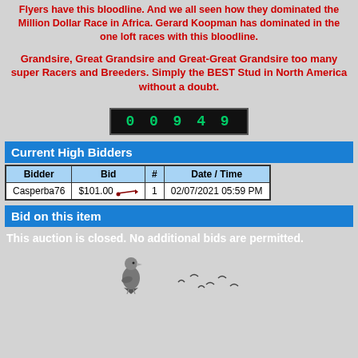Flyers have this bloodline. And we all seen how they dominated the Million Dollar Race in Africa. Gerard Koopman has dominated in the one loft races with this bloodline.
Grandsire, Great Grandsire and Great-Great Grandsire too many super Racers and Breeders. Simply the BEST Stud in North America without a doubt.
00949
Current High Bidders
| Bidder | Bid | # | Date / Time |
| --- | --- | --- | --- |
| Casperba76 | $101.00 | 1 | 02/07/2021 05:59 PM |
Bid on this item
This auction is closed. No additional bids are permitted.
[Figure (illustration): Two pigeon/bird illustrations at the bottom of the page]